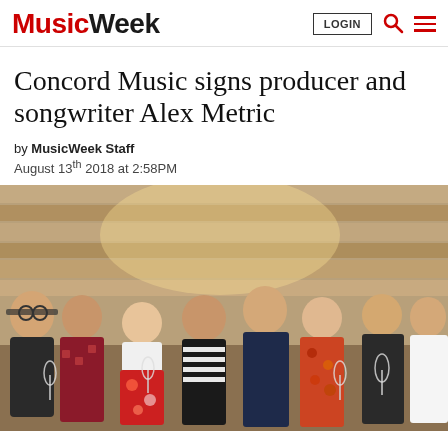MusicWeek — LOGIN, search, and menu navigation
Concord Music signs producer and songwriter Alex Metric
by MusicWeek Staff
August 13th 2018 at 2:58PM
[Figure (photo): Group photo of eight people standing together indoors against a wooden plank wall background. They are dressed in casual summer attire, some holding champagne glasses.]